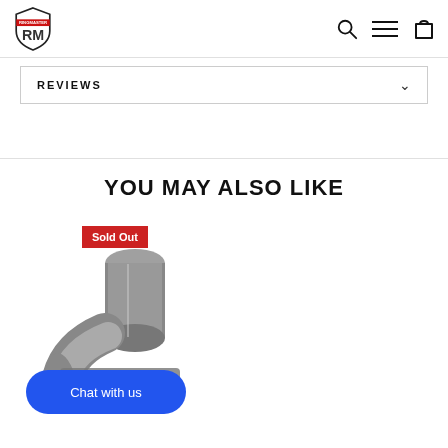RM logo, search icon, menu icon, cart icon
REVIEWS
YOU MAY ALSO LIKE
[Figure (photo): Product image of a metal pipe/exhaust elbow component in gray color, shown at an angle, with a red 'Sold Out' badge overlaid in the top-right area of the image, and a blue 'Chat with us' button overlaid at the bottom.]